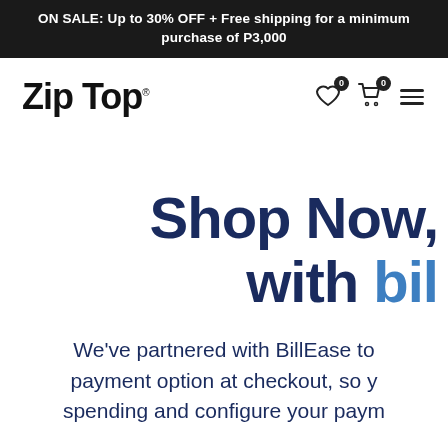ON SALE: Up to 30% OFF + Free shipping for a minimum purchase of P3,000
Zip Top
Shop Now, with bil
We've partnered with BillEase to payment option at checkout, so y spending and configure your paym